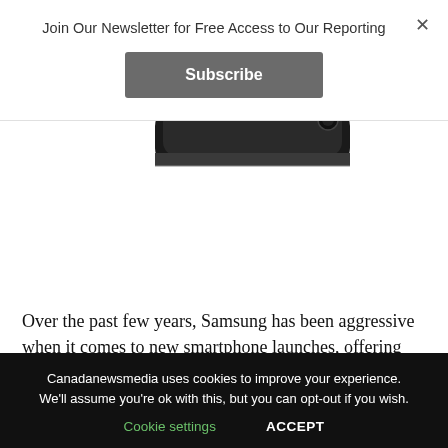Join Our Newsletter for Free Access to Our Reporting
Subscribe
[Figure (photo): Bottom edge of a smartphone device with dark rounded frame, partially cropped]
Over the past few years, Samsung has been aggressive when it comes to new smartphone launches, offering
Canadanewsmedia uses cookies to improve your experience. We'll assume you're ok with this, but you can opt-out if you wish.
Cookie settings    ACCEPT